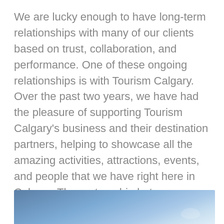We are lucky enough to have long-term relationships with many of our clients based on trust, collaboration, and performance. One of these ongoing relationships is with Tourism Calgary. Over the past two years, we have had the pleasure of supporting Tourism Calgary's business and their destination partners, helping to showcase all the amazing activities, attractions, events, and people that we have right here in Calgary. The partnership between our two organizations continues to be a valued and collaborative one, no matter what market factors we have had to collectively face over the time we've been working together.
[Figure (photo): Partial view of a blue sky photograph, likely showing an outdoor Calgary scene, visible at the bottom of the page.]